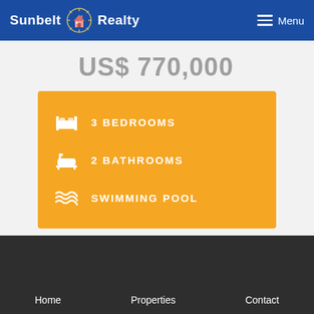Sunbelt Realty  Menu
US$ 770,000
3 BEDROOMS
2 BATHROOMS
SWIMMING POOL
Home   Properties   Contact